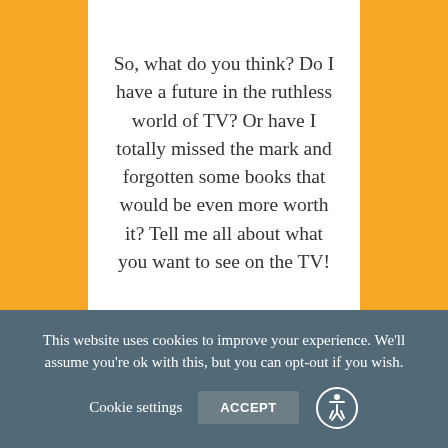So, what do you think? Do I have a future in the ruthless world of TV? Or have I totally missed the mark and forgotten some books that would be even more worth it? Tell me all about what you want to see on the TV!
Share this:
[Figure (other): Twitter and Facebook share buttons]
This website uses cookies to improve your experience. We'll assume you're ok with this, but you can opt-out if you wish.
Cookie settings   ACCEPT